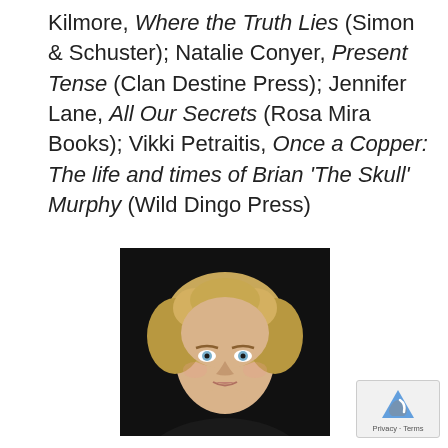Kilmore, Where the Truth Lies (Simon & Schuster); Natalie Conyer, Present Tense (Clan Destine Press); Jennifer Lane, All Our Secrets (Rosa Mira Books); Vikki Petraitis, Once a Copper: The life and times of Brian 'The Skull' Murphy (Wild Dingo Press)
[Figure (photo): Black and white professional headshot portrait of a woman with curly blonde/light hair, blue eyes, looking slightly to the side, against a dark background.]